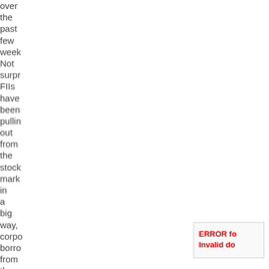over the past few weeks. Not surprisingly FIIs have been pulling out from the stock market in a big way, corporate borrowing from the global market are
ERROR fo Invalid do